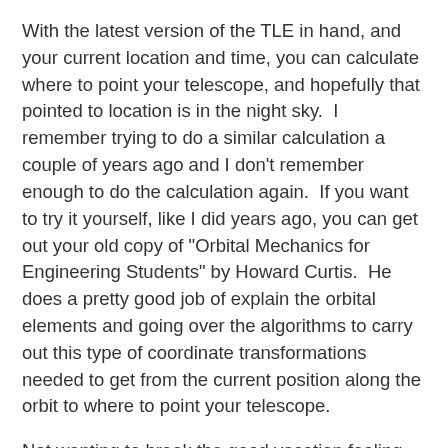With the latest version of the TLE in hand, and your current location and time, you can calculate where to point your telescope, and hopefully that pointed to location is in the night sky.  I remember trying to do a similar calculation a couple of years ago and I don't remember enough to do the calculation again.  If you want to try it yourself, like I did years ago, you can get out your old copy of "Orbital Mechanics for Engineering Students" by Howard Curtis.  He does a pretty good job of explain the orbital elements and going over the algorithms to carry out this type of coordinate transformations needed to get from the current position along the orbit to where to point your telescope.
Not wanting to break the good vacation feeling from our time in Florida, I am not going to get out my copy of the book, just now anyway.  The events of the launch day were fantastic and it was a great experience and we all had a great time.  The traffic jams were completely bearable given the high of the launch experience.  Now we had planned to stay another day in Cocoa beach, just in case the launch were to be delayed by one day but with the successful launch on day 1